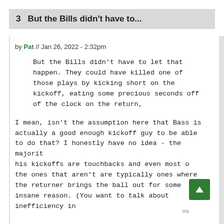3  But the Bills didn't have to...
by Pat // Jan 26, 2022 - 2:32pm
But the Bills didn't have to let that happen. They could have killed one of those plays by kicking short on the kickoff, eating some precious seconds off of the clock on the return,
I mean, isn't the assumption here that Bass is actually a good enough kickoff guy to be able to do that? I honestly have no idea - the majority of his kickoffs are touchbacks and even most of the ones that aren't are typically ones where the returner brings the ball out for some insane reason. (You want to talk about inefficiency in